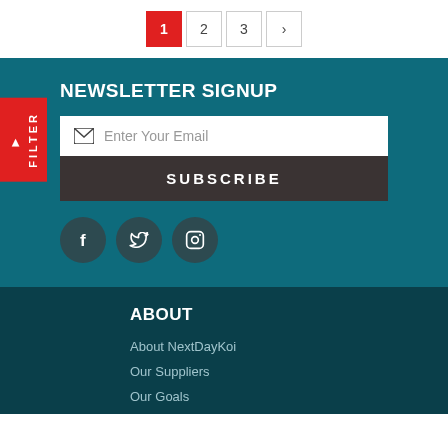Pagination: 1 2 3 >
NEWSLETTER SIGNUP
Enter Your Email
SUBSCRIBE
[Figure (infographic): Social media icons: Facebook, Twitter, Instagram in dark circles]
ABOUT
About NextDayKoi
Our Suppliers
Our Goals